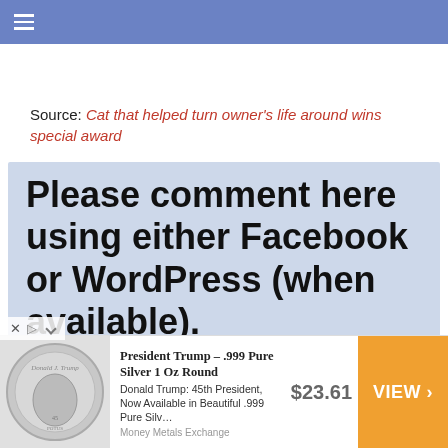≡
Source: Cat that helped turn owner's life around wins special award
Please comment here using either Facebook or WordPress (when available).
[Figure (other): Advertisement banner for Donald Trump .999 Pure Silver 1 Oz Round coin. Shows a silver coin with Trump's profile, price $23.61, and a VIEW button. From Money Metals Exchange.]